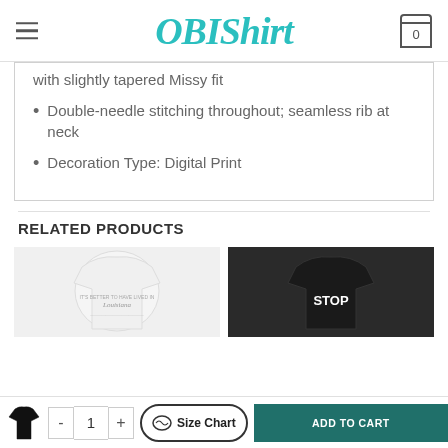OBIShirt
with slightly tapered Missy fit
Double-needle stitching throughout; seamless rib at neck
Decoration Type: Digital Print
RELATED PRODUCTS
[Figure (photo): White t-shirt product thumbnail with text]
[Figure (photo): Black t-shirt product thumbnail with STOP text]